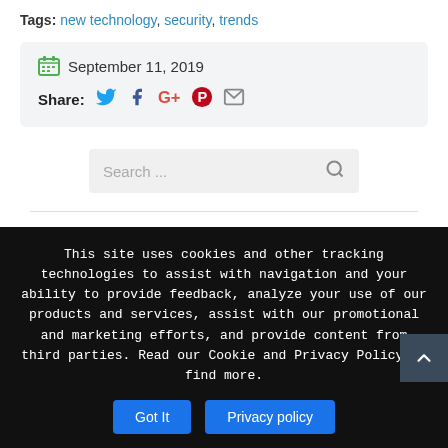Tags: new technology, security, trends
September 11, 2019
Share:
[Figure (screenshot): Search bar with placeholder text 'Search ...' and a magnifying glass icon]
Categories
This site uses cookies and other tracking technologies to assist with navigation and your ability to provide feedback, analyze your use of our products and services, assist with our promotional and marketing efforts, and provide content from third parties. Read our Cookie and Privacy Policy to find more.